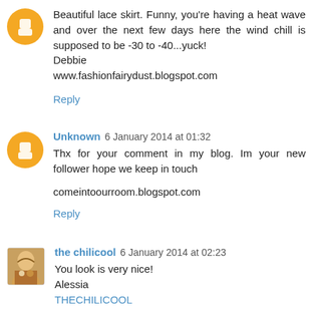Beautiful lace skirt. Funny, you're having a heat wave and over the next few days here the wind chill is supposed to be -30 to -40...yuck!
Debbie
www.fashionfairydust.blogspot.com
Reply
Unknown 6 January 2014 at 01:32
Thx for your comment in my blog. Im your new follower hope we keep in touch

comeintoourroom.blogspot.com
Reply
the chilicool 6 January 2014 at 02:23
You look is very nice!
Alessia
THECHILICOOL